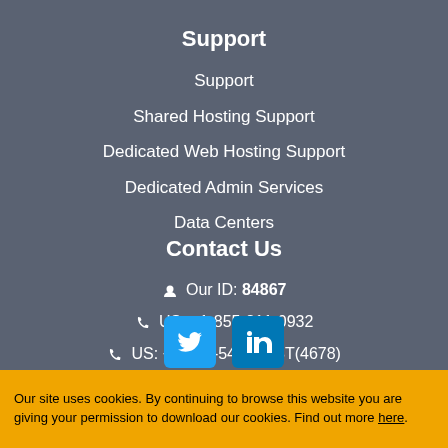Support
Support
Shared Hosting Support
Dedicated Web Hosting Support
Dedicated Admin Services
Data Centers
Contact Us
Our ID: 84867
US: +1-855-211-0932
US: +1-727-546-HOST(4678)
UK: +44-20-3695-1294
AU: +61-2-8417-2372
[Figure (logo): Twitter and LinkedIn social media icons]
Live Chat
Accept
Our site uses cookies. By continuing to browse this website you are giving your permission to download our cookies. Find out more here.